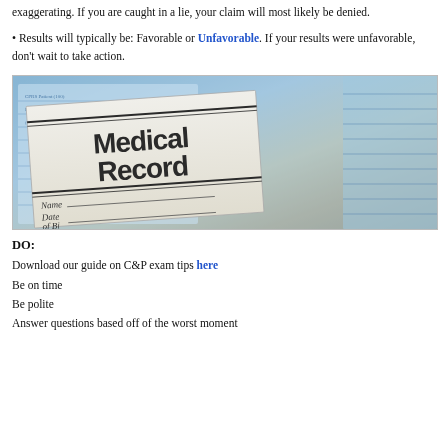exaggerating. If you are caught in a lie, your claim will most likely be denied.
• Results will typically be: Favorable or Unfavorable. If your results were unfavorable, don't wait to take action.
[Figure (photo): Photo of a Medical Record folder/document with fields for Name and Date of Birth, placed on top of blue medical forms]
DO:
Download our guide on C&P exam tips here
Be on time
Be polite
Answer questions based off of the worst moment